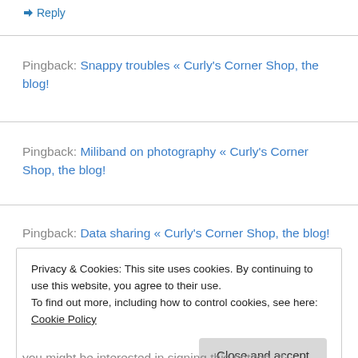↳ Reply
Pingback: Snappy troubles « Curly's Corner Shop, the blog!
Pingback: Miliband on photography « Curly's Corner Shop, the blog!
Pingback: Data sharing « Curly's Corner Shop, the blog!
Privacy & Cookies: This site uses cookies. By continuing to use this website, you agree to their use.
To find out more, including how to control cookies, see here: Cookie Policy
you might be interested in signing this petiton, if